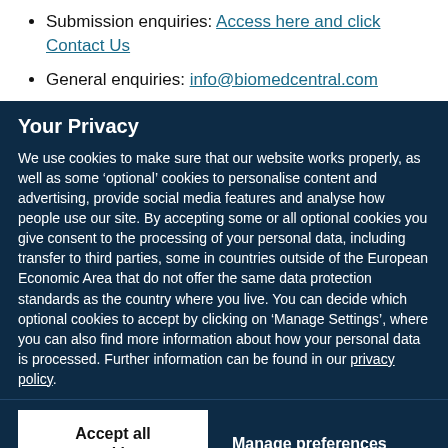Submission enquiries: Access here and click Contact Us
General enquiries: info@biomedcentral.com
Your Privacy
We use cookies to make sure that our website works properly, as well as some ‘optional’ cookies to personalise content and advertising, provide social media features and analyse how people use our site. By accepting some or all optional cookies you give consent to the processing of your personal data, including transfer to third parties, some in countries outside of the European Economic Area that do not offer the same data protection standards as the country where you live. You can decide which optional cookies to accept by clicking on ‘Manage Settings’, where you can also find more information about how your personal data is processed. Further information can be found in our privacy policy.
Accept all cookies
Manage preferences